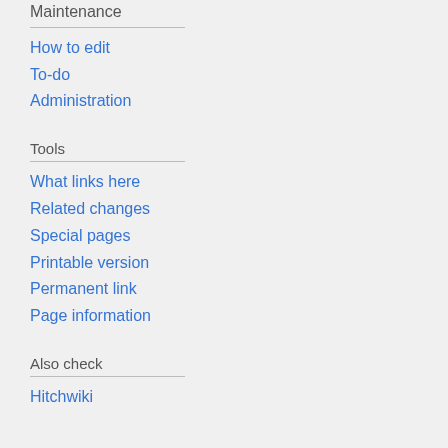Maintenance
How to edit
To-do
Administration
Tools
What links here
Related changes
Special pages
Printable version
Permanent link
Page information
Also check
Hitchwiki